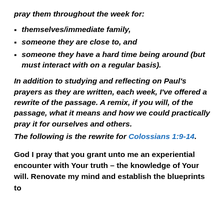pray them throughout the week for:
themselves/immediate family,
someone they are close to, and
someone they have a hard time being around (but must interact with on a regular basis).
In addition to studying and reflecting on Paul's prayers as they are written, each week, I've offered a rewrite of the passage. A remix, if you will, of the passage, what it means and how we could practically pray it for ourselves and others.
The following is the rewrite for Colossians 1:9-14.
God I pray that you grant unto me an experiential encounter with Your truth – the knowledge of Your will. Renovate my mind and establish the blueprints to